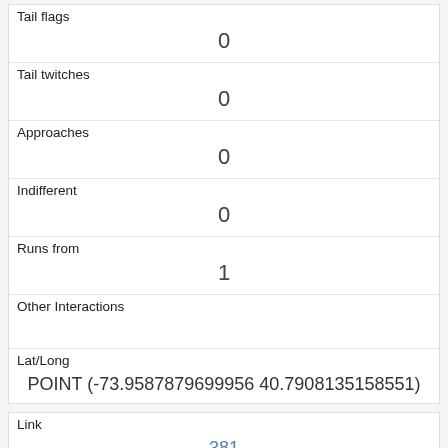| Tail flags | 0 |
| Tail twitches | 0 |
| Approaches | 0 |
| Indifferent | 0 |
| Runs from | 1 |
| Other Interactions |  |
| Lat/Long | POINT (-73.9587879699956 40.7908135158551) |
| Link | 381 |
| rowid | 381 |
| longitude | -73.9587894446686 |